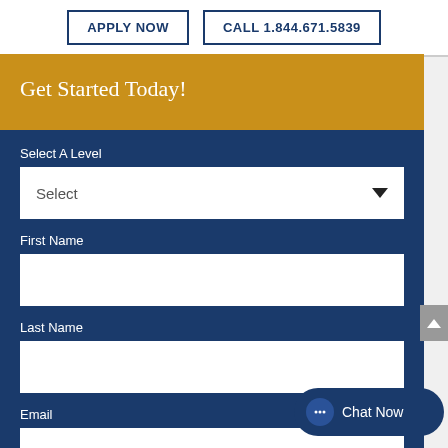APPLY NOW
CALL 1.844.671.5839
Get Started Today!
Select A Level
Select
First Name
Last Name
Email
Chat Now